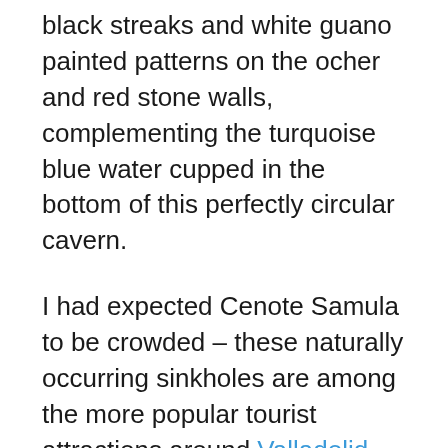black streaks and white guano painted patterns on the ocher and red stone walls, complementing the turquoise blue water cupped in the bottom of this perfectly circular cavern.
I had expected Cenote Samula to be crowded – these naturally occurring sinkholes are among the more popular tourist attractions around Valladolid – but to my delight it was deserted. Closing my eyes, I tuned into its cathedral energy. Water droplets plunked from sweating rocks into the pool and bats swooped back and forth through the sunbeam, emitting their high-pitched warning. Whispers echoed in the cavern; a giggle punctuated the silence. Had other tourists arrived so stealthily that I had